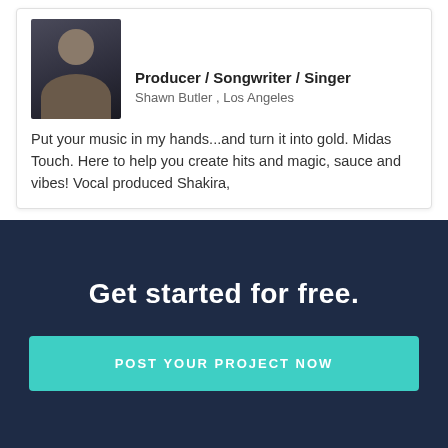[Figure (photo): Profile photo of a man wearing a dark jacket, cropped at the top of the card]
Producer / Songwriter / Singer
Shawn Butler , Los Angeles
Put your music in my hands...and turn it into gold. Midas Touch. Here to help you create hits and magic, sauce and vibes! Vocal produced Shakira,
Get started for free.
POST YOUR PROJECT NOW